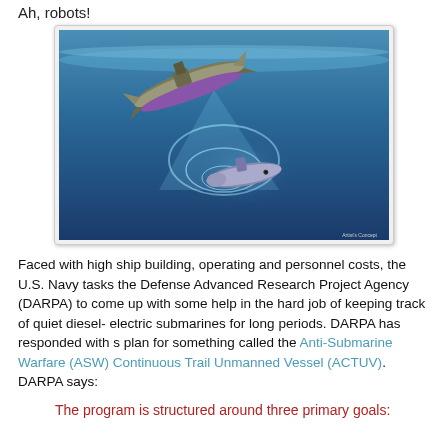Ah, robots!
[Figure (illustration): Artist's concept rendering showing an unmanned surface vessel (ACTUV) traveling on the ocean surface with sonar beams projecting downward, detecting a submarine below. The scene is set underwater with blue tones, showing both the unmanned vessel from above and a submarine below being tracked.]
Faced with high ship building, operating and personnel costs, the U.S. Navy tasks the Defense Advanced Research Project Agency (DARPA) to come up with some help in the hard job of keeping track of quiet diesel- electric submarines for long periods. DARPA has responded with s plan for something called the Anti-Submarine Warfare (ASW) Continuous Trail Unmanned Vessel (ACTUV). DARPA says:
The program is structured around three primary goals: